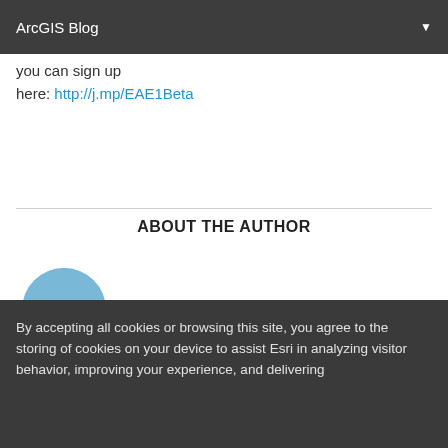ArcGIS Blog
you can sign up here: http://j.mp/EAE1Beta
ABOUT THE AUTHOR
[Figure (photo): Circular profile photo of the author standing near a beach, wearing a dark jacket]
By accepting all cookies or browsing this site, you agree to the storing of cookies on your device to assist Esri in analyzing visitor behavior, improving your experience, and delivering